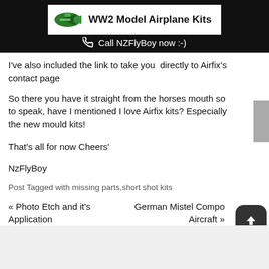WW2 Model Airplane Kits
Call NZFlyBoy now :-)
I've also included the link to take you  directly to Airfix's contact page
So there you have it straight from the horses mouth so to speak, have I mentioned I love Airfix kits? Especially the new mould kits!
That's all for now Cheers'
NzFlyBoy
Post Tagged with missing parts,short shot kits
« Photo Etch and it's Application
German Mistel Compo Aircraft »